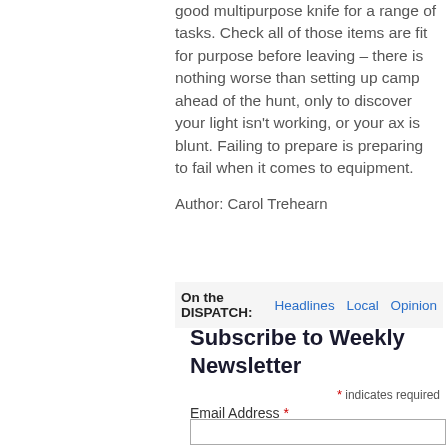good multipurpose knife for a range of tasks. Check all of those items are fit for purpose before leaving – there is nothing worse than setting up camp ahead of the hunt, only to discover your light isn't working, or your ax is blunt. Failing to prepare is preparing to fail when it comes to equipment.
Author: Carol Trehearn
On the DISPATCH: Headlines  Local  Opinion
Subscribe to Weekly Newsletter
* indicates required
Email Address *
First Name